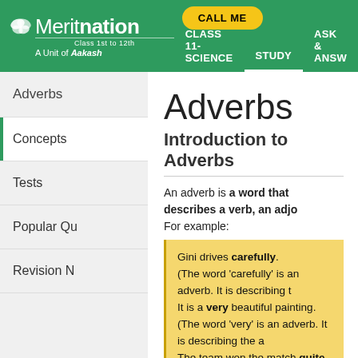Meritnation — Class 1st to 12th — A Unit of Aakash | CALL ME | CLASS 11-SCIENCE | STUDY | ASK & ANSW
Adverbs
Concepts
Tests
Popular Qu
Revision N
Adverbs
Introduction to Adverbs
An adverb is a word that describes a verb, an adjo
For example:
Gini drives carefully.
(The word 'carefully' is an adverb. It is describing t
It is a very beautiful painting.
(The word 'very' is an adverb. It is describing the a
The team won the match quite easily.
(The word 'easily' is an adverb. It is telling us how
It is telling us how easily the team won the match